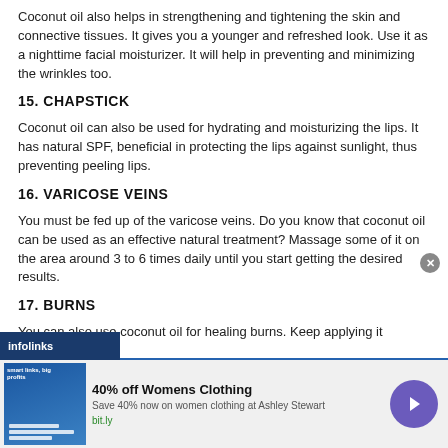Coconut oil also helps in strengthening and tightening the skin and connective tissues. It gives you a younger and refreshed look. Use it as a nighttime facial moisturizer. It will help in preventing and minimizing the wrinkles too.
15. CHAPSTICK
Coconut oil can also be used for hydrating and moisturizing the lips. It has natural SPF, beneficial in protecting the lips against sunlight, thus preventing peeling lips.
16. VARICOSE VEINS
You must be fed up of the varicose veins. Do you know that coconut oil can be used as an effective natural treatment? Massage some of it on the area around 3 to 6 times daily until you start getting the desired results.
17. BURNS
You can also use coconut oil for healing burns. Keep applying it regularly until it is healed. It will speed up the healing and eliminate any risk of
[Figure (screenshot): Advertisement banner: infolinks label, '40% off Womens Clothing' ad from Ashley Stewart with bit.ly link and navigation arrow button]